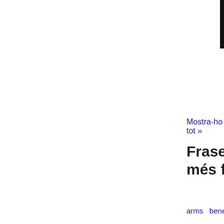[Figure (photo): Book cover with black background and gold laurel wreath icon]
OF COLERIDGE SH... Samuel Taylor 1772-1834 Coleridge,Percy Bysshe 1792-1822 Shelley,John 1795-1821 Keats
Previsualització no disponible - 2016
Mostra-ho tot »
Frases i termes més freqüents
arms  beneath  blood  brother  calm  child  clouds  comes  command  Count  countess  dare  dark  dead  dear  death  deep  dream  Duke  earth  Emperor  Enter  eyes  face  fair